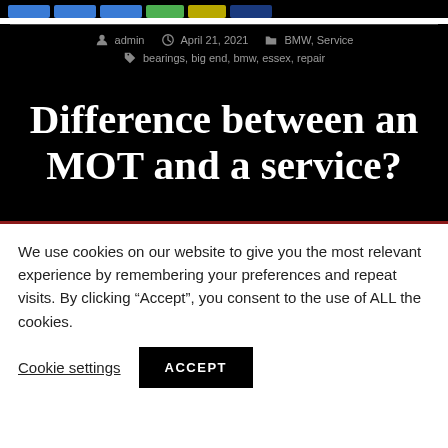Navigation buttons bar
admin  April 21, 2021  BMW, Service  bearings, big end, bmw, essex, repair
Difference between an MOT and a service?
We use cookies on our website to give you the most relevant experience by remembering your preferences and repeat visits. By clicking “Accept”, you consent to the use of ALL the cookies.
Cookie settings  ACCEPT